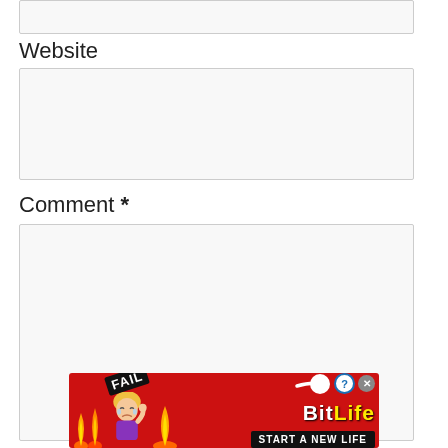[Figure (screenshot): Top input field box (partially visible at top of page), gray bordered rectangle]
Website
[Figure (screenshot): Website input field, light gray bordered rectangle]
Comment *
[Figure (screenshot): Comment textarea, large light gray bordered rectangle]
[Figure (infographic): BitLife advertisement banner: red background with FAIL badge, cartoon blonde character, flames, sperm icon, BitLife logo, and START A NEW LIFE text on black strip]